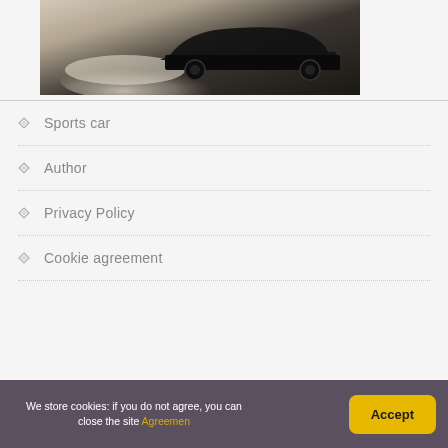[Figure (photo): Black and white photo of a sports car doing a burnout with smoke visible, dark car on light background]
Sports car
Author
Privacy Policy
Cookie agreement
We store cookies: if you do not agree, you can close the site Agreemen
Accept